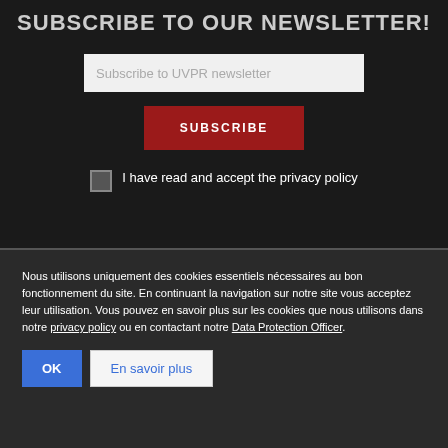SUBSCRIBE TO OUR NEWSLETTER!
Subscribe to UVPR newsletter
SUBSCRIBE
I have read and accept the privacy policy
Nous utilisons uniquement des cookies essentiels nécessaires au bon fonctionnement du site. En continuant la navigation sur notre site vous acceptez leur utilisation. Vous pouvez en savoir plus sur les cookies que nous utilisons dans notre privacy policy ou en contactant notre Data Protection Officer.
OK
En savoir plus